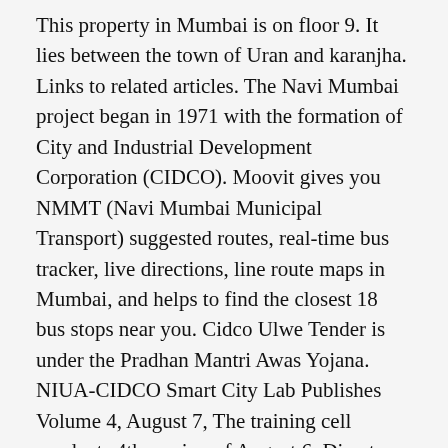This property in Mumbai is on floor 9. It lies between the town of Uran and karanjha. Links to related articles. The Navi Mumbai project began in 1971 with the formation of City and Industrial Development Corporation (CIDCO). Moovit gives you NMMT (Navi Mumbai Municipal Transport) suggested routes, real-time bus tracker, live directions, line route maps in Mumbai, and helps to find the closest 18 bus stops near you. Cidco Ulwe Tender is under the Pradhan Mantri Awas Yojana. NIUA-CIDCO Smart City Lab Publishes Volume 4, August 7, The training cell conducts 4th session of August 6, Director, NIUA presents at 3rd. The flat is a spacious property and is ready to move in. Located in an integrated society of sai exotica, it has 2 baths and 1 balcony. The project is also likely to boost the real estate and commercial development of the areas around stations including Ulwe and Bamandongri. Participants who had been to IIML were also pleased with the faculty assistance and the facilities provided at the institute. Sector 20, Ulwe Pin code. Self Financing – Using land as a resource Total Revenue – Out of these cookies